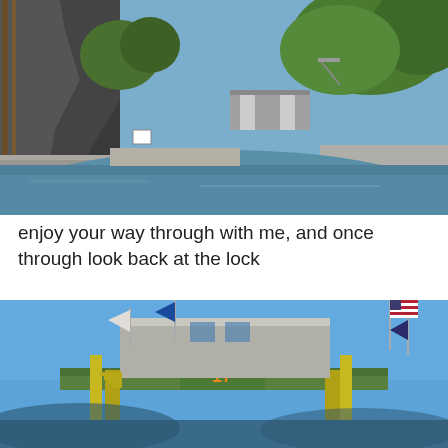[Figure (photo): Aerial/eye-level view of a canal waterway with rocky cliff face on the left, concrete retaining walls, calm blue-green water, and a lock structure visible in the distance, surrounded by green trees under a blue sky.]
enjoy your way through with me, and once through look back at the lock
[Figure (photo): View of a canal lock gate structure (Lock 17) from water level, showing two grey control houses on a green and yellow metal bridge/gate structure with flags flying — an American flag and blue flags. The number 17 is visible in orange on a green panel.]